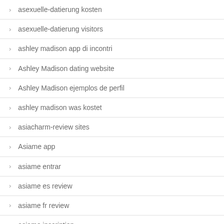asexuelle-datierung kosten
asexuelle-datierung visitors
ashley madison app di incontri
Ashley Madison dating website
Ashley Madison ejemplos de perfil
ashley madison was kostet
asiacharm-review sites
Asiame app
asiame entrar
asiame es review
asiame fr review
asiame inscription